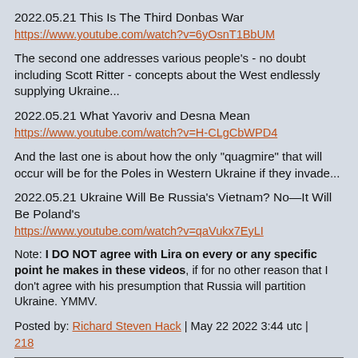2022.05.21 This Is The Third Donbas War
https://www.youtube.com/watch?v=6yOsnT1BbUM
The second one addresses various people's - no doubt including Scott Ritter - concepts about the West endlessly supplying Ukraine...
2022.05.21 What Yavoriv and Desna Mean
https://www.youtube.com/watch?v=H-CLgCbWPD4
And the last one is about how the only "quagmire" that will occur will be for the Poles in Western Ukraine if they invade...
2022.05.21 Ukraine Will Be Russia's Vietnam? No—It Will Be Poland's
https://www.youtube.com/watch?v=qaVukx7EyLI
Note: I DO NOT agree with Lira on every or any specific point he makes in these videos, if for no other reason that I don't agree with his presumption that Russia will partition Ukraine. YMMV.
Posted by: Richard Steven Hack | May 22 2022 3:44 utc | 218
EtTu is a mind altering drug, supposed to blind